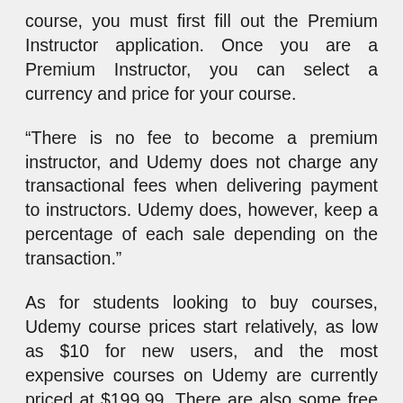course, you must first fill out the Premium Instructor application. Once you are a Premium Instructor, you can select a currency and price for your course.
“There is no fee to become a premium instructor, and Udemy does not charge any transactional fees when delivering payment to instructors. Udemy does, however, keep a percentage of each sale depending on the transaction.”
As for students looking to buy courses, Udemy course prices start relatively, as low as $10 for new users, and the most expensive courses on Udemy are currently priced at $199.99. There are also some free courses you can try out for free.